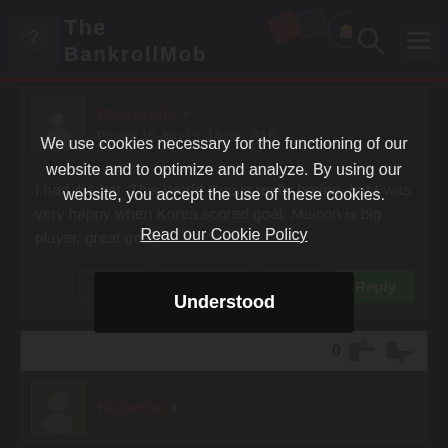[Figure (screenshot): BankrollMob website header with logo, search icon, and menu icon on dark blue background with red stripe]
Piotrunnio • Posted 16-Jun-10, 14:30 #18
I had 4:1 bet. This World Cup is really boring, but I was very happy when Korea scored goal. Maicon is big player, great goal.
Report | Bookmark | Quote | Reply
0 [thumbs up] [thumbs down]
Hajinnho •
We use cookies necessary for the functioning of our website and to optimize and analyze. By using our website, you accept the use of these cookies.
Read our Cookie Policy
Understood